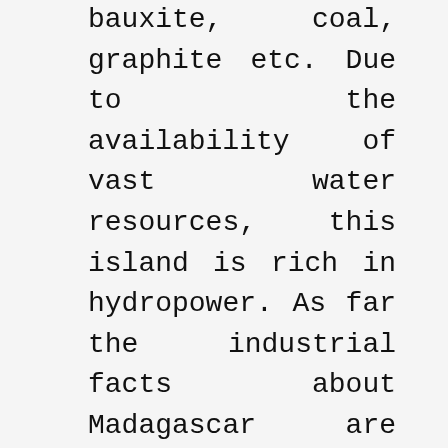bauxite, coal, graphite etc. Due to the availability of vast water resources, this island is rich in hydropower. As far the industrial facts about Madagascar are concerned, there are numerous industries that are in full vogue here. Some of these industries include textiles, brewery, petroleum, cement, and meat-processing.
The wild life of Madagascar is very wide and complex. Most of the flora and fauna that are found here are known to evolve here. Of many plants that are found at this unique and isolated island are not found in any other parts of the world. Some species like elephant birds and Aepyomis have become extinct. Many other species have been declared endangered. The slash and burn method of cultivation over year has made many agricultural areas nutrition-deficit. Most common language spoken in